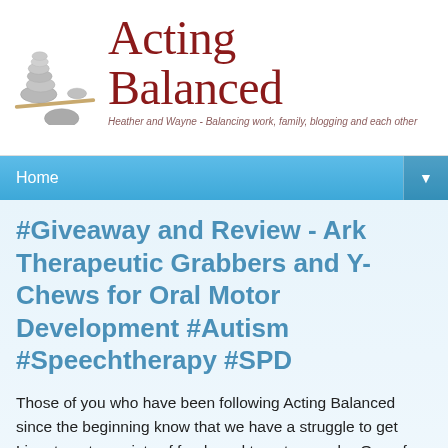[Figure (logo): Acting Balanced blog logo with stacked stones balancing on a beam and red serif text reading 'Acting Balanced' with tagline 'Heather and Wayne - Balancing work, family, blogging and each other']
Home ▼
#Giveaway and Review - Ark Therapeutic Grabbers and Y-Chews for Oral Motor Development #Autism #Speechtherapy #SPD
Those of you who have been following Acting Balanced since the beginning know that we have a struggle to get Liam to eat a variety of foods and to eat properly.  One of the factors is of course the gluten free diet he's on, but another part of it is simply that his mouth and jaw muscles need exercising. F...